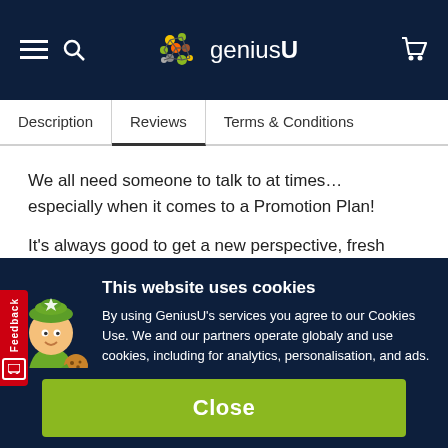geniusU navigation bar
Description | Reviews | Terms & Conditions
We all need someone to talk to at times… especially when it comes to a Promotion Plan!
It's always good to get a new perspective, fresh input and a
This website uses cookies
By using GeniusU's services you agree to our Cookies Use. We and our partners operate globaly and use cookies, including for analytics, personalisation, and ads.
Terms & Conditions   Privacy Policy
Close